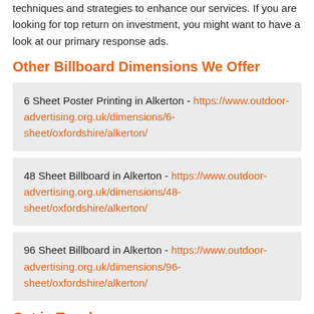techniques and strategies to enhance our services. If you are looking for top return on investment, you might want to have a look at our primary response ads.
Other Billboard Dimensions We Offer
6 Sheet Poster Printing in Alkerton - https://www.outdoor-advertising.org.uk/dimensions/6-sheet/oxfordshire/alkerton/
48 Sheet Billboard in Alkerton - https://www.outdoor-advertising.org.uk/dimensions/48-sheet/oxfordshire/alkerton/
96 Sheet Billboard in Alkerton - https://www.outdoor-advertising.org.uk/dimensions/96-sheet/oxfordshire/alkerton/
Get in Touch
Be sure to talk to our advisors by completing the contact form on this page. Our advertising specialists can create the most beneficial schedule for your specific brand and assist you in choosing the marketing platform to use. As a first rate independent traditional marketing company, our key aim will be to provide you with an